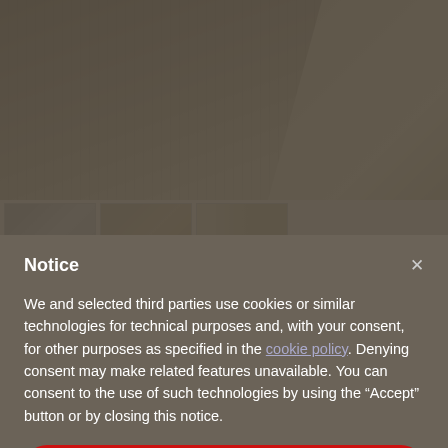[Figure (photo): Close-up photo of a quilted beige/taupe fabric bedspread or coverlet with vertical stitching lines, with a lighter fabric visible in the upper right corner.]
[Figure (photo): Row of three small thumbnail images of the same quilted bedding product.]
Notice
We and selected third parties use cookies or similar technologies for technical purposes and, with your consent, for other purposes as specified in the cookie policy. Denying consent may make related features unavailable. You can consent to the use of such technologies by using the “Accept” button or by closing this notice.
Accept
Learn more and customize